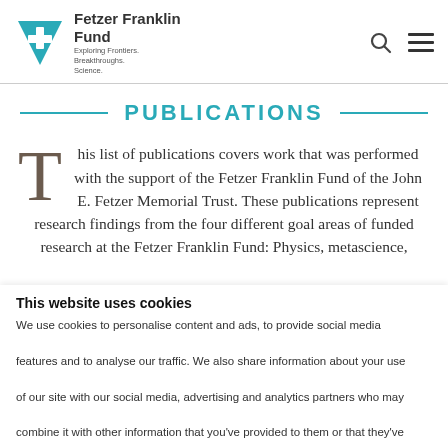Fetzer Franklin Fund — Exploring Frontiers. Breakthroughs. Science.
PUBLICATIONS
This list of publications covers work that was performed with the support of the Fetzer Franklin Fund of the John E. Fetzer Memorial Trust. These publications represent research findings from the four different goal areas of funded research at the Fetzer Franklin Fund: Physics, metascience,
This website uses cookies
We use cookies to personalise content and ads, to provide social media features and to analyse our traffic. We also share information about your use of our site with our social media, advertising and analytics partners who may combine it with other information that you've provided to them or that they've